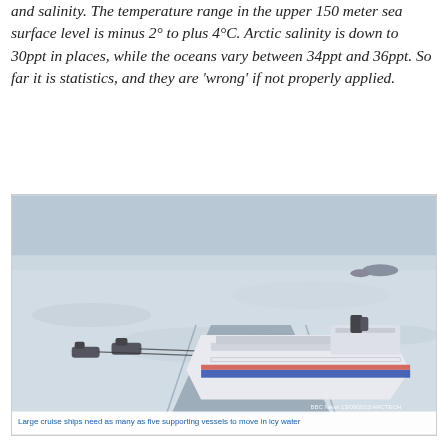and salinity. The temperature range in the upper 150 meter sea surface level is minus 2° to plus 4°C. Arctic salinity is down to 30ppt in places, while the oceans vary between 34ppt and 36ppt. So far it is statistics, and they are 'wrong' if not properly applied.
[Figure (photo): Aerial illustration of a large cruise ship being guided through icy Arctic waters by multiple tugboats/icebreakers, with a frozen sea surface. BBC News 13/09/2013 ARCTECH watermark visible.]
Large cruise ships need as many as five supporting vessels to move in icy water